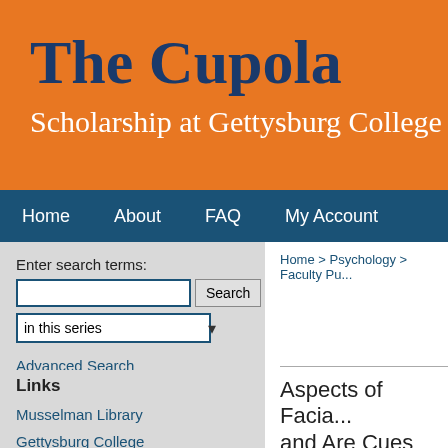The Cupola
Scholarship at Gettysburg College
Home   About   FAQ   My Account
Enter search terms:
in this series
Advanced Search
Notify me via email or RSS
Links
Musselman Library
Gettysburg College
Home > Psychology > Faculty Pu...
Aspects of Facia... and Are Cues for...
Aurelie Porcheron